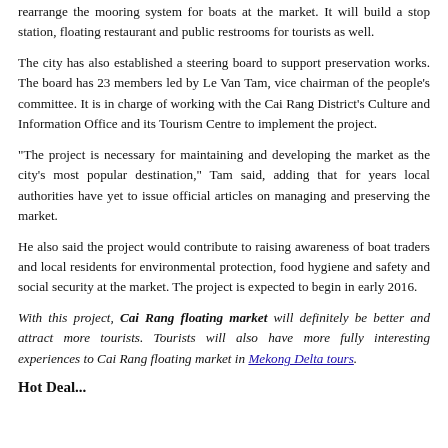rearrange the mooring system for boats at the market. It will build a stop station, floating restaurant and public restrooms for tourists as well.
The city has also established a steering board to support preservation works. The board has 23 members led by Le Van Tam, vice chairman of the people's committee. It is in charge of working with the Cai Rang District's Culture and Information Office and its Tourism Centre to implement the project.
"The project is necessary for maintaining and developing the market as the city's most popular destination," Tam said, adding that for years local authorities have yet to issue official articles on managing and preserving the market.
He also said the project would contribute to raising awareness of boat traders and local residents for environmental protection, food hygiene and safety and social security at the market. The project is expected to begin in early 2016.
With this project, Cai Rang floating market will definitely be better and attract more tourists. Tourists will also have more fully interesting experiences to Cai Rang floating market in Mekong Delta tours.
Hot Deal...